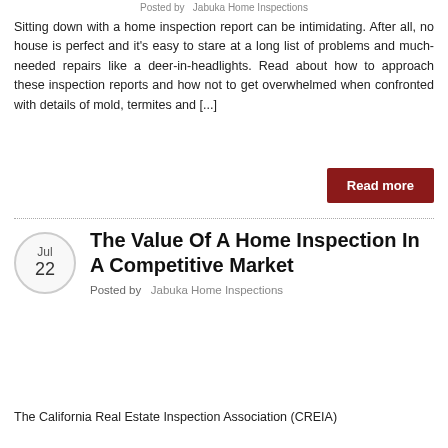Posted by  Jabuka Home Inspections
Sitting down with a home inspection report can be intimidating. After all, no house is perfect and it's easy to stare at a long list of problems and much-needed repairs like a deer-in-headlights. Read about how to approach these inspection reports and how not to get overwhelmed when confronted with details of mold, termites and [...]
Read more
The Value Of A Home Inspection In A Competitive Market
Posted by  Jabuka Home Inspections
The California Real Estate Inspection Association (CREIA)